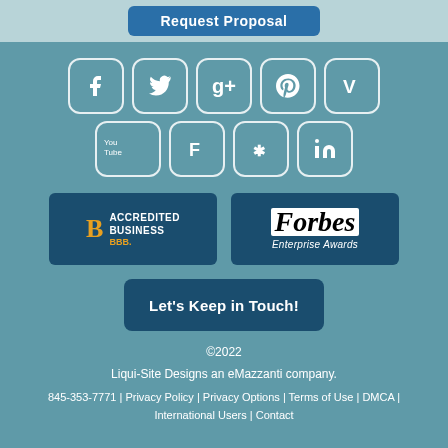[Figure (screenshot): Request Proposal button at top of page in blue]
[Figure (infographic): Social media icon buttons: Facebook, Twitter, Google+, Pinterest, Vimeo, YouTube, Foursquare, Yelp, LinkedIn]
[Figure (logo): BBB Accredited Business badge and Forbes Enterprise Awards badge]
[Figure (other): Let's Keep in Touch! button]
©2022
Liqui-Site Designs an eMazzanti company.
845-353-7771 | Privacy Policy | Privacy Options | Terms of Use | DMCA | International Users | Contact